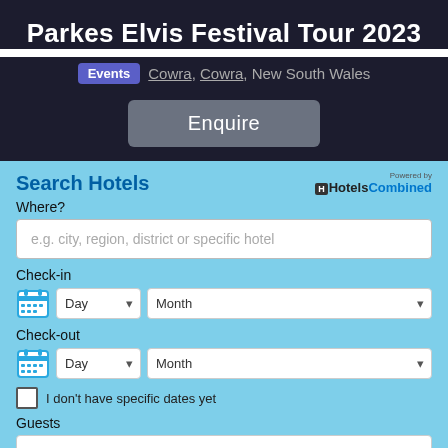Parkes Elvis Festival Tour 2023
Events   Cowra, Cowra, New South Wales
Enquire
Search Hotels
Powered by HotelsCombined
Where?
e.g. city, region, district or specific hotel
Check-in
Day  Month
Check-out
Day  Month
I don't have specific dates yet
Guests
2 adults in 1 room